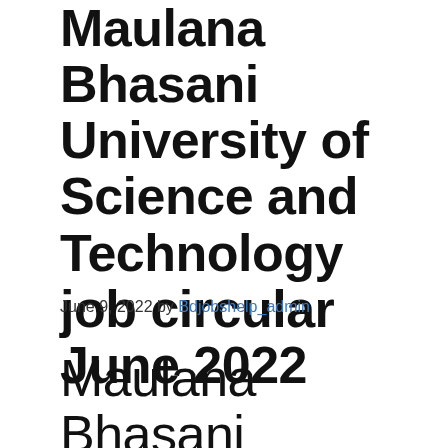Maulana Bhasani University of Science and Technology job circular June 2022
June 9, 2022 by Bdjobshelp_admin
Maulana Bhasani University of Science and